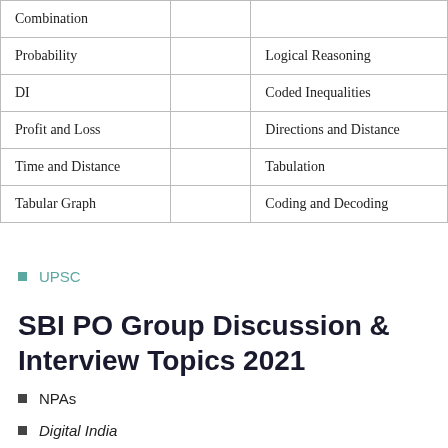|  |  |  |
| --- | --- | --- |
| Combination |  |  |
| Probability |  | Logical Reasoning |
| DI |  | Coded Inequalities |
| Profit and Loss |  | Directions and Distance |
| Time and Distance |  | Tabulation |
| Tabular Graph |  | Coding and Decoding |
UPSC
SBI PO Group Discussion & Interview Topics 2021
NPAs
Digital India